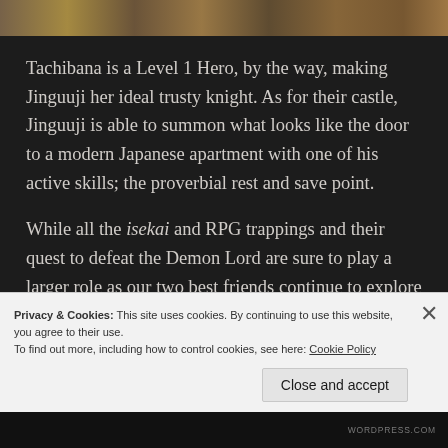[Figure (photo): Partial top strip showing anime/illustration imagery in warm tones]
Tachibana is a Level 1 Hero, by the way, making Jinguuji her ideal trusty knight. As for their castle, Jinguuji is able to summon what looks like the door to a modern Japanese apartment with one of his active skills; the proverbial rest and save point.
While all the isekai and RPG trappings and their quest to defeat the Demon Lord are sure to play a larger role as our two best friends continue to explore their new lives (and meet more people), I hope the focus
Privacy & Cookies: This site uses cookies. By continuing to use this website, you agree to their use.
To find out more, including how to control cookies, see here: Cookie Policy
Close and accept